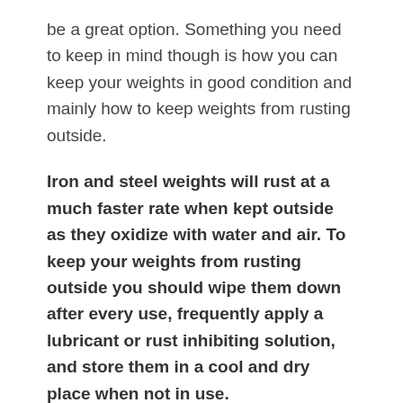be a great option. Something you need to keep in mind though is how you can keep your weights in good condition and mainly how to keep weights from rusting outside.
Iron and steel weights will rust at a much faster rate when kept outside as they oxidize with water and air. To keep your weights from rusting outside you should wipe them down after every use, frequently apply a lubricant or rust inhibiting solution, and store them in a cool and dry place when not in use.